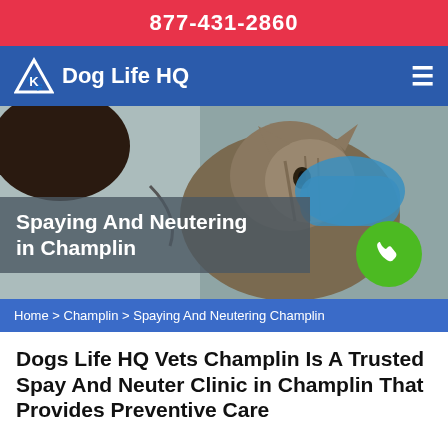877-431-2860
Dog Life HQ
[Figure (photo): A veterinarian wearing blue gloves holding and examining a tabby cat against a clinic background]
Spaying And Neutering in Champlin
Home > Champlin > Spaying And Neutering Champlin
Dogs Life HQ Vets Champlin Is A Trusted Spay And Neuter Clinic in Champlin That Provides Preventive Care